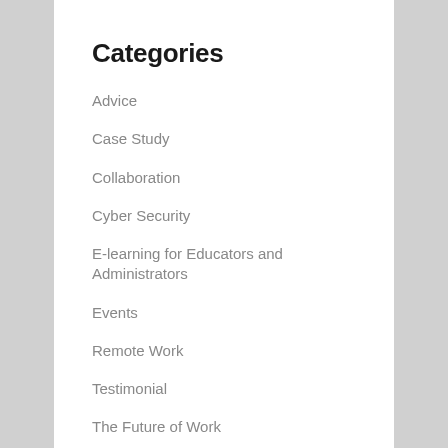Categories
Advice
Case Study
Collaboration
Cyber Security
E-learning for Educators and Administrators
Events
Remote Work
Testimonial
The Future of Work